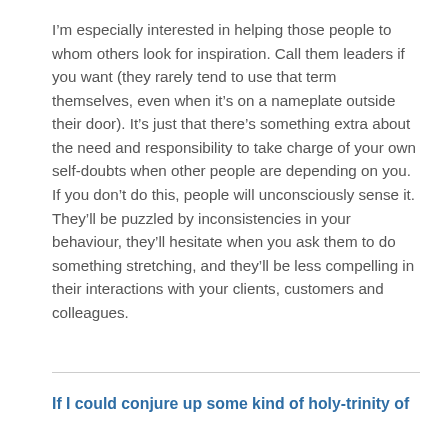I'm especially interested in helping those people to whom others look for inspiration. Call them leaders if you want (they rarely tend to use that term themselves, even when it's on a nameplate outside their door). It's just that there's something extra about the need and responsibility to take charge of your own self-doubts when other people are depending on you. If you don't do this, people will unconsciously sense it. They'll be puzzled by inconsistencies in your behaviour, they'll hesitate when you ask them to do something stretching, and they'll be less compelling in their interactions with your clients, customers and colleagues.
If I could conjure up some kind of holy-trinity of